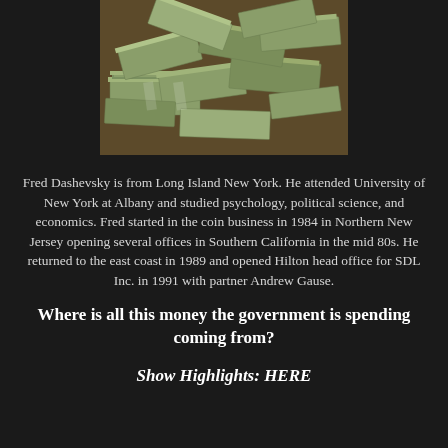[Figure (photo): Pile of stacked US dollar bills/cash]
Fred Dashevsky is from Long Island New York. He attended University of New York at Albany and studied psychology, political science, and economics. Fred started in the coin business in 1984 in Northern New Jersey opening several offices in Southern California in the mid 80s. He returned to the east coast in 1989 and opened Hilton head office for SDL Inc. in 1991 with partner Andrew Gause.
Where is all this money the government is spending coming from?
Show Highlights: HERE